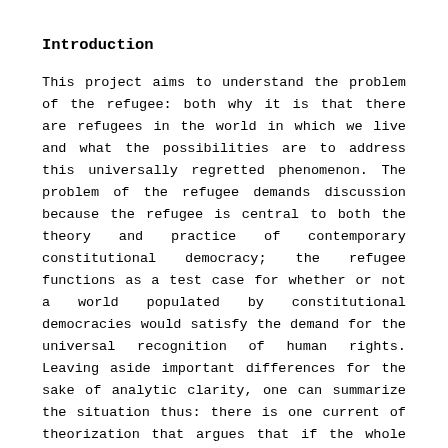Introduction
This project aims to understand the problem of the refugee: both why it is that there are refugees in the world in which we live and what the possibilities are to address this universally regretted phenomenon. The problem of the refugee demands discussion because the refugee is central to both the theory and practice of contemporary constitutional democracy; the refugee functions as a test case for whether or not a world populated by constitutional democracies would satisfy the demand for the universal recognition of human rights. Leaving aside important differences for the sake of analytic clarity, one can summarize the situation thus: there is one current of theorization that argues that if the whole world was populated by constitutional democracies, or liberal nation-states, then there would be